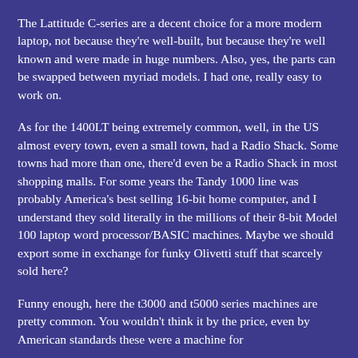The Lattitude C-series are a decent choice for a more modern laptop, not because they're well-built, but because they're well known and were made in huge numbers. Also, yes, the parts can be swapped between myriad models. I had one, really easy to work on.
As for the 1400LT being extremely common, well, in the US almost every town, even a small town, had a Radio Shack. Some towns had more than one, there'd even be a Radio Shack in most shopping malls. For some years the Tandy 1000 line was probably America's best selling 16-bit home computer, and I understand they sold literally in the millions of their 8-bit Model 100 laptop word processor/BASIC machines. Maybe we should export some in exchange for funky Olivetti stuff that scarcely sold here?
Funny enough, here the t3000 and t5000 series machines are pretty common. You wouldn't think it by the price, even by American standards these were a machine for competing field engineers, yet I think they became...